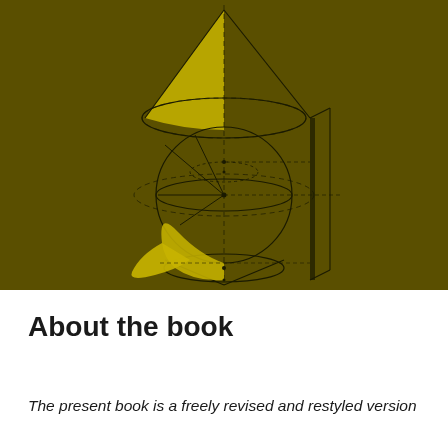[Figure (illustration): Mathematical illustration on a dark olive/khaki background showing geometric 3D figures: a cone at the top with a golden/yellow filled upper-left quadrant, a sphere in the middle with construction lines and dashed circles, and a cone section at the bottom with a golden/yellow filled shape (conic section). A rectangular plane intersects the sphere. Black construction lines, dashed circles, and small dots mark key geometric points.]
About the book
The present book is a freely revised and restyled version